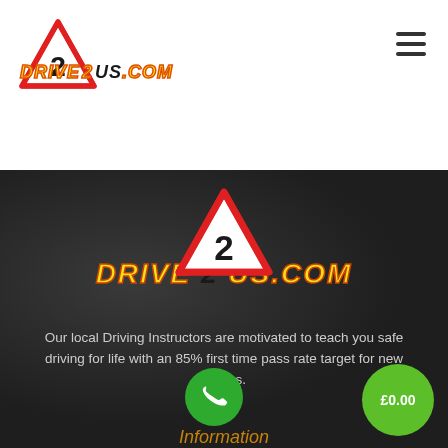[Figure (logo): Drive2us.com logo with red triangle warning sign containing '2', yellow italic text reading DRIVE 2 US.COM, shown in header]
[Figure (logo): Hamburger menu icon (three horizontal lines) in top right corner]
[Figure (logo): Large Drive2us.com logo centered on dark background section with red triangle sign and yellow text DRIVE 2 US.COM]
Our local Driving Instructors are motivated to teach you safe driving for life with an 85% first time pass rate target for new drivers.
[Figure (other): Green circular phone button]
[Figure (other): Green circular price button showing £0.00]
Information